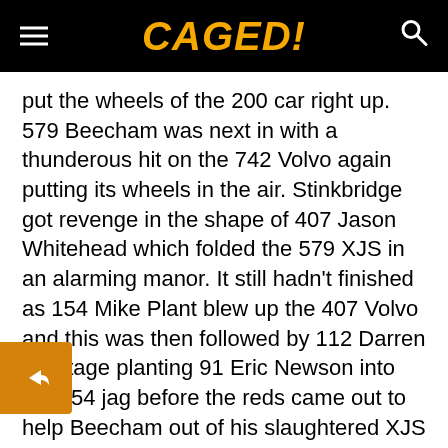CAGED!
put the wheels of the 200 car right up. 579 Beecham was next in with a thunderous hit on the 742 Volvo again putting its wheels in the air. Stinkbridge got revenge in the shape of 407 Jason Whitehead which folded the 579 XJS in an alarming manor. It still hadn't finished as 154 Mike Plant blew up the 407 Volvo and this was then followed by 112 Darren Prestage planting 91 Eric Newson into the 154 jag before the reds came out to help Beecham out of his slaughtered XJS which was getting shorter and shorter as each hit went in. Elsewhere before the reds Blackwell had t-boned 807 Chris Murfin with a savage shot. As the race started you would have been forgiven for thinking would be a tame few laps to the flag, however you